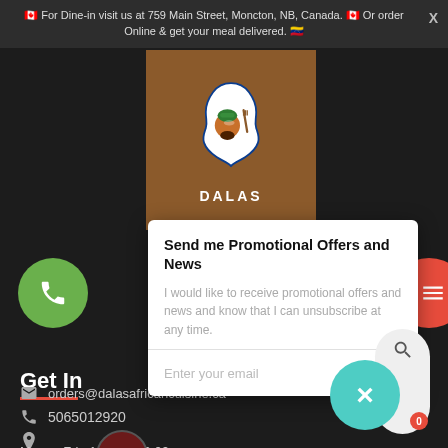🇨🇦 For Dine-in visit us at 759 Main Street, Moncton, NB, Canada. 🇨🇦 Or order Online & get your meal delivered. 🇻🇪
[Figure (logo): DALAS African Cuisine logo — Africa continent shape with face and fork design on brown background, text DALAS below]
[Figure (screenshot): Promotional offers popup modal with title 'Send me Promotional Offers and News', description text, and email input field]
Get In
759
5065012920
orders@dalasafricancuisine.ca
Mon. – Fri.: 12:00 – 20:00